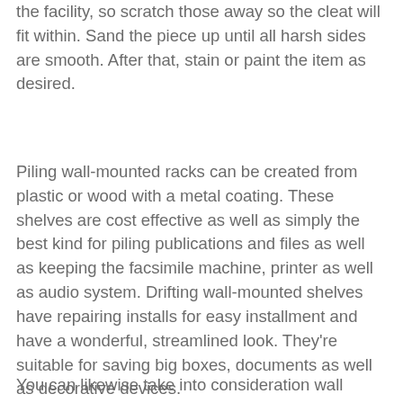the facility, so scratch those away so the cleat will fit within. Sand the piece up until all harsh sides are smooth. After that, stain or paint the item as desired.
Piling wall-mounted racks can be created from plastic or wood with a metal coating. These shelves are cost effective as well as simply the best kind for piling publications and files as well as keeping the facsimile machine, printer as well as audio system. Drifting wall-mounted shelves have repairing installs for easy installment and have a wonderful, streamlined look. They're suitable for saving big boxes, documents as well as decorative devices.
You can likewise take into consideration wall installed models including various kinds of